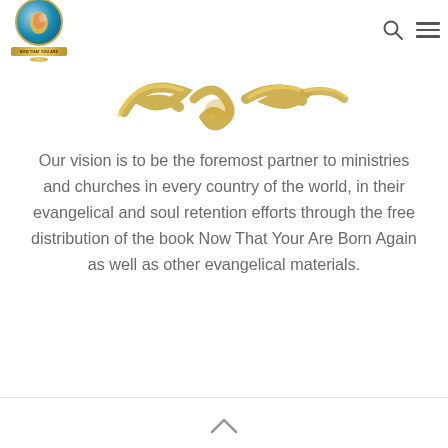Now That Your Are Born Again ministry logo with navigation search and menu icons
[Figure (illustration): Decorative gold ribbon/bow illustration at the top center of the page]
Our vision is to be the foremost partner to ministries and churches in every country of the world, in their evangelical and soul retention efforts through the free distribution of the book Now That Your Are Born Again as well as other evangelical materials.